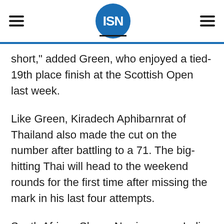ISN
short," added Green, who enjoyed a tied-19th place finish at the Scottish Open last week.
Like Green, Kiradech Aphibarnrat of Thailand also made the cut on the number after battling to a 71. The big-hitting Thai will head to the weekend rounds for the first time after missing the mark in his last four attempts.
South African Shaun Norris, young Indian talent Shubhankar Sharma, Japan’s Yuta Ikeda and Masahiro Kawamura will continue to spearhead